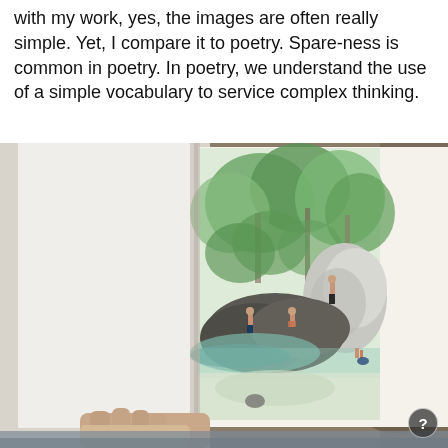with my work, yes, the images are often really simple. Yet, I compare it to poetry. Spare-ness is common in poetry. In poetry, we understand the use of a simple vocabulary to service complex thinking.
[Figure (photo): A photograph of an open sketchbook being held by a person's hand. The sketchbook page shows a watercolor painting of people on rocky terrain near water, surrounded by green trees and foliage. The background outside the book shows sandy/rocky ground.]